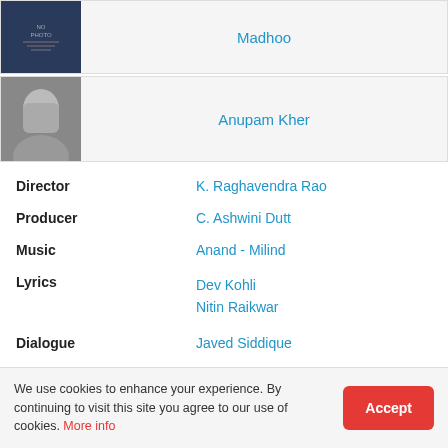| [image] | Madhoo |
| [image] | Anupam Kher |
Director	K. Raghavendra Rao
Producer	C. Ashwini Dutt
Music	Anand - Milind
Lyrics	Dev Kohli
	Nitin Raikwar
Dialogue	Javed Siddique
Story	P. Satyanand
We use cookies to enhance your experience. By continuing to visit this site you agree to our use of cookies. More info [Accept]